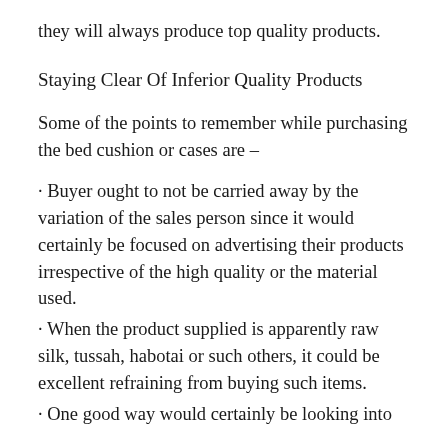they will always produce top quality products.
Staying Clear Of Inferior Quality Products
Some of the points to remember while purchasing the bed cushion or cases are –
· Buyer ought to not be carried away by the variation of the sales person since it would certainly be focused on advertising their products irrespective of the high quality or the material used.
· When the product supplied is apparently raw silk, tussah, habotai or such others, it could be excellent refraining from buying such items.
· One good way would certainly be looking into